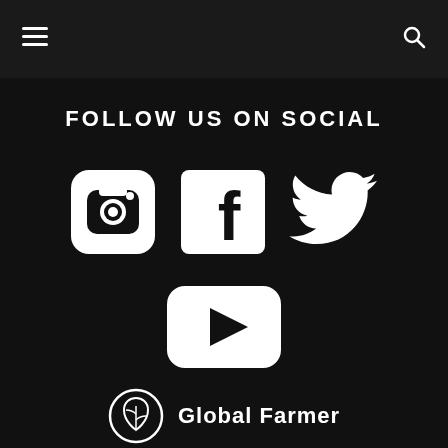☰  🔍
FOLLOW US ON SOCIAL
[Figure (illustration): Social media icons row: Instagram camera icon (white rounded square), Facebook 'f' icon (white rounded square), Twitter bird icon (white)]
[Figure (illustration): YouTube play button icon (white rounded rectangle with triangle)]
[Figure (logo): Global Farmer logo: circular leaf/plant emblem with text 'Global Farmer' in white]